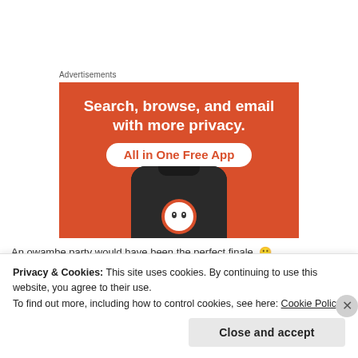Advertisements
[Figure (illustration): DuckDuckGo advertisement banner with orange background. Text reads: Search, browse, and email with more privacy. All in One Free App. Shows a phone with DuckDuckGo logo.]
An owambe party would have been the perfect finale. 🙂
Privacy & Cookies: This site uses cookies. By continuing to use this website, you agree to their use.
To find out more, including how to control cookies, see here: Cookie Policy
Close and accept